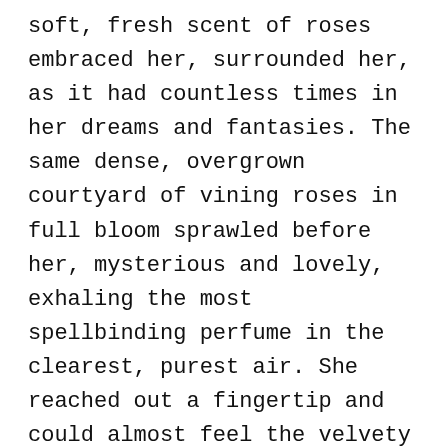soft, fresh scent of roses embraced her, surrounded her, as it had countless times in her dreams and fantasies. The same dense, overgrown courtyard of vining roses in full bloom sprawled before her, mysterious and lovely, exhaling the most spellbinding perfume in the clearest, purest air. She reached out a fingertip and could almost feel the velvety soft, shimmering petals—

“The lion’s den is the balcony, is it?”

Next to her stood a vision in black